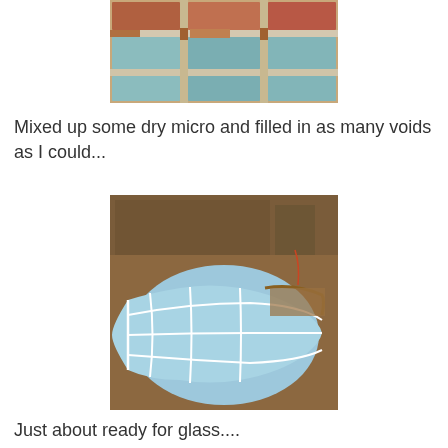[Figure (photo): Close-up photo of foam panels with rusty metal frame grid, showing teal/blue foam blocks separated by corroded white metal dividers]
Mixed up some dry micro and filled in as many voids as I could...
[Figure (photo): Photo of a blue foam composite aircraft nose/fuselage section being built, showing curved foam panels with white seams/tape laid out on a brown surface in a workshop]
Just about ready for glass....